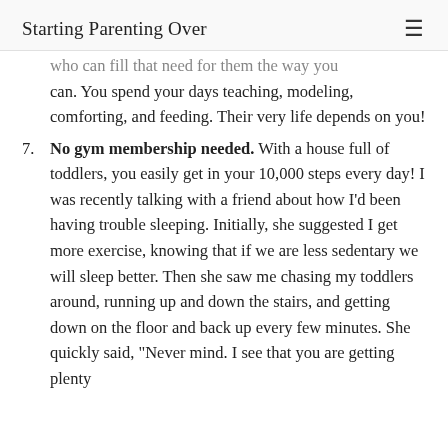Starting Parenting Over
who can fill that need for them the way you can. You spend your days teaching, modeling, comforting, and feeding. Their very life depends on you!
7. No gym membership needed. With a house full of toddlers, you easily get in your 10,000 steps every day! I was recently talking with a friend about how I’d been having trouble sleeping. Initially, she suggested I get more exercise, knowing that if we are less sedentary we will sleep better. Then she saw me chasing my toddlers around, running up and down the stairs, and getting down on the floor and back up every few minutes. She quickly said, “Never mind. I see that you are getting plenty